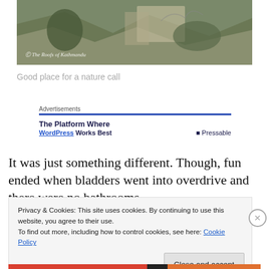[Figure (photo): Aerial or elevated view of rocky mountain road with vegetation and cliff face. Watermark reads 'The Roofs of Kathmandu'.]
Good place for a nature call
Advertisements
The Platform Where WordPress Works Best   Pressable
It was just something different. Though, fun ended when bladders went into overdrive and there were no bathrooms
Privacy & Cookies: This site uses cookies. By continuing to use this website, you agree to their use.
To find out more, including how to control cookies, see here: Cookie Policy
Close and accept